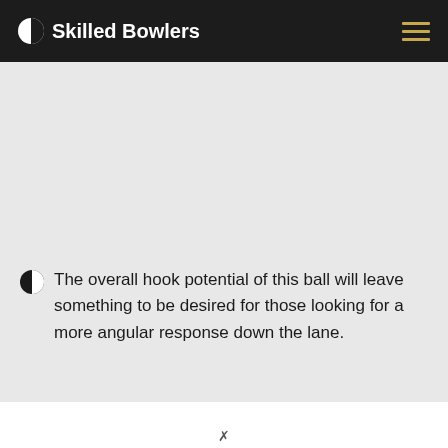Skilled Bowlers
The overall hook potential of this ball will leave something to be desired for those looking for a more angular response down the lane.
FAQs